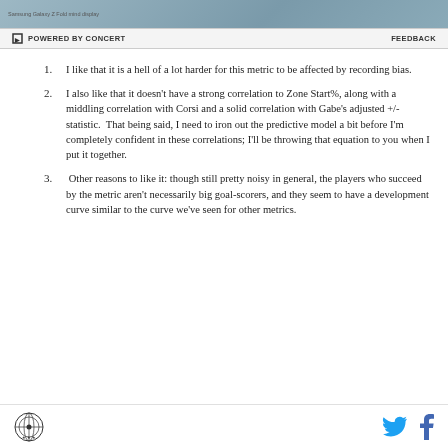POWERED BY CONCERT   FEEDBACK
I like that it is a hell of a lot harder for this metric to be affected by recording bias.
I also like that it doesn't have a strong correlation to Zone Start%, along with a middling correlation with Corsi and a solid correlation with Gabe's adjusted +/- statistic.  That being said, I need to iron out the predictive model a bit before I'm completely confident in these correlations; I'll be throwing that equation to you when I put it together.
Other reasons to like it: though still pretty noisy in general, the players who succeed by the metric aren't necessarily big goal-scorers, and they seem to have a development curve similar to the curve we've seen for other metrics.